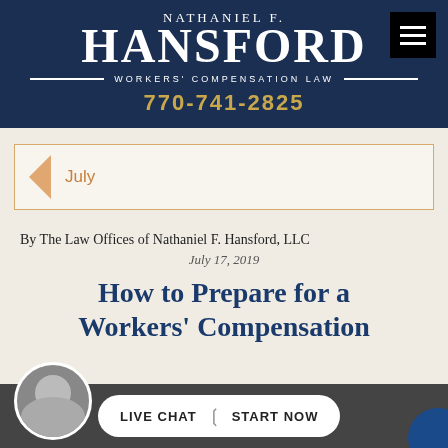Nathaniel F. Hansford — Workers' Compensation Law — 770-741-2825
July
By The Law Offices of Nathaniel F. Hansford, LLC
July 17, 2019
How to Prepare for a Workers' Compensation